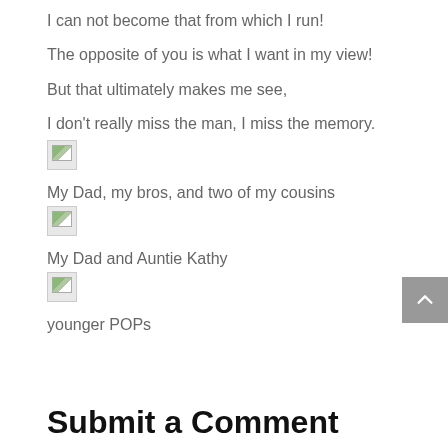I can not become that from which I run!
The opposite of you is what I want in my view!
But that ultimately makes me see,
I don't really miss the man, I miss the memory.
[Figure (photo): Broken image placeholder]
My Dad, my bros, and two of my cousins
[Figure (photo): Broken image placeholder]
My Dad and Auntie Kathy
[Figure (photo): Broken image placeholder]
younger POPs
Submit a Comment
Your email address will not be published. Required fields are marked *